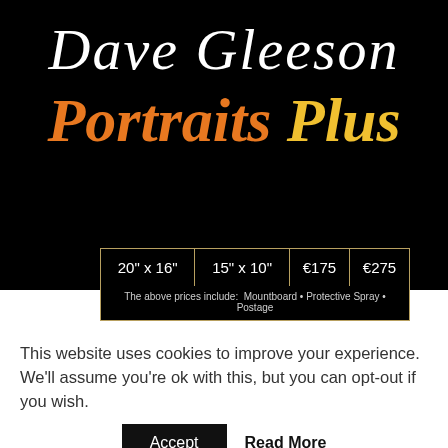Dave Gleeson
Portraits Plus
| 20" x 16" | 15" x 10" | €175 | €275 |
The above prices include:  Mountboard  •  Protective Spray  •  Postage
This website uses cookies to improve your experience. We'll assume you're ok with this, but you can opt-out if you wish.
Accept  Read More